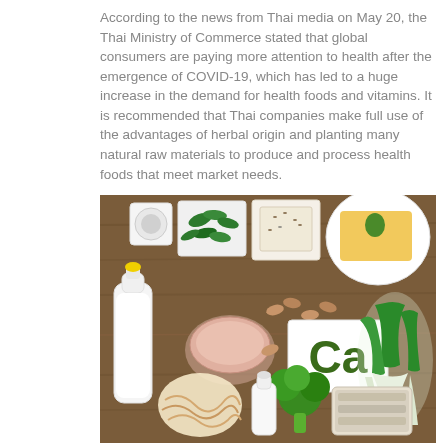According to the news from Thai media on May 20, the Thai Ministry of Commerce stated that global consumers are paying more attention to health after the emergence of COVID-19, which has led to a huge increase in the demand for health foods and vitamins. It is recommended that Thai companies make full use of the advantages of herbal origin and planting many natural raw materials to produce and process health foods that meet market needs.
[Figure (photo): A flat-lay photo on a wooden table showing various calcium-rich foods including a milk bottle, leafy greens, tofu, almonds, a bowl of pink salt, a white plate with cheese and herbs, broccoli, sardines in a tin, bok choy, a small white bottle, noodles, and a card in the center labeled 'Ca' in dark green letters.]